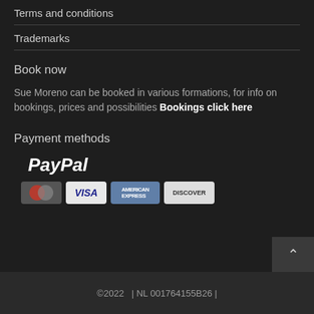Terms and conditions
Trademarks
Book now
Sue Moreno can be booked in various formations, for info on bookings, prices and possibilities Bookings click here
Payment methods
[Figure (logo): PayPal logo in white bold italic text, followed by a row of payment card logos: Mastercard, VISA, American Express, Discover]
©2022   | NL 001764155B26 |